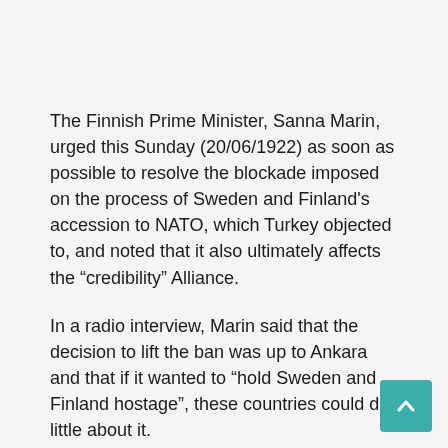The Finnish Prime Minister, Sanna Marin, urged this Sunday (20/06/1922) as soon as possible to resolve the blockade imposed on the process of Sweden and Finland's accession to NATO, which Turkey objected to, and noted that it also ultimately affects the “credibility” Alliance.
In a radio interview, Marin said that the decision to lift the ban was up to Ankara and that if it wanted to “hold Sweden and Finland hostage”, these countries could do little about it.
“I hope that a solution will be found and the situation does not freeze,” he said, adding that he believed most member states expected the issue to be resolved before the NATO summit in Madrid at the end of June.
According to the prime minister, the situation is